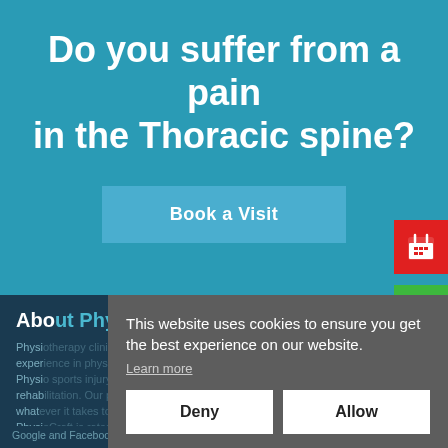Do you suffer from a pain in the Thoracic spine?
Book a Visit
About PhysioCraft
Physi... expe... Physi... rehab... what... Physi...
Google and Facebook. Physiotherapists Southampton.
This website uses cookies to ensure you get the best experience on our website.
Learn more
Deny
Allow